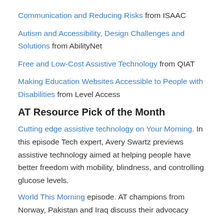Communication and Reducing Risks from ISAAC
Autism and Accessibility, Design Challenges and Solutions from AbilityNet
Free and Low-Cost Assistive Technology from QIAT
Making Education Websites Accessible to People with Disabilities from Level Access
AT Resource Pick of the Month
Cutting edge assistive technology on Your Morning. In this episode Tech expert, Avery Swartz previews assistive technology aimed at helping people have better freedom with mobility, blindness, and controlling glucose levels.
World This Morning episode. AT champions from Norway, Pakistan and Iraq discuss their advocacy